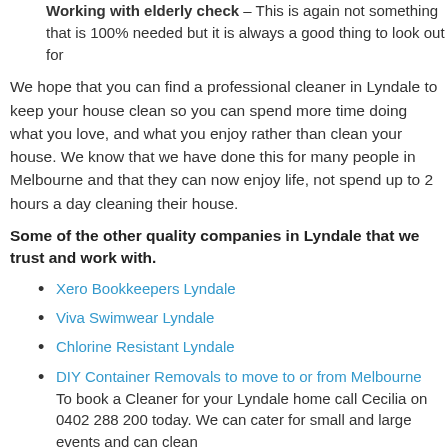Working with elderly check – This is again not something that is 100% needed but it is always a good thing to look out for
We hope that you can find a professional cleaner in Lyndale to keep your house clean so you can spend more time doing what you love, and what you enjoy rather than clean your house. We know that we have done this for many people in Melbourne and that they can now enjoy life, not spend up to 2 hours a day cleaning their house.
Some of the other quality companies in Lyndale that we trust and work with.
Xero Bookkeepers Lyndale
Viva Swimwear Lyndale
Chlorine Resistant Lyndale
DIY Container Removals to move to or from Melbourne
To book a Cleaner for your Lyndale home call Cecilia on 0402 288 200 today. We can cater for small and large events and can clean